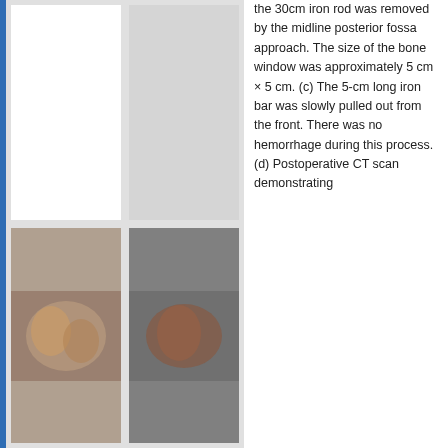[Figure (photo): Medical images (CT/MRI scans or surgical photos) arranged in a 2x2 grid with a blue vertical stripe on the left. Top-left cell is white/blank, top-right is gray, bottom cells contain partially visible surgical/patient photographs.]
the 30cm iron rod was removed by the midline posterior fossa approach. The size of the bone window was approximately 5 cm × 5 cm. (c) The 5-cm long iron bar was slowly pulled out from the front. There was no hemorrhage during this process. (d) Postoperative CT scan demonstrating
This website uses cookies. By continuing to use this website you are giving consent to cookies being used. For information on cookies and how you can disable them visit our Privacy and Cookie Policy.
AGREE & PROCEED